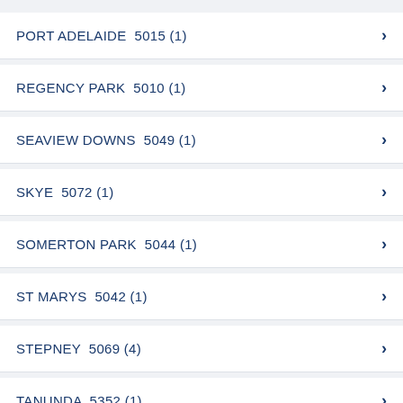PORT ADELAIDE  5015 (1)
REGENCY PARK   5010 (1)
SEAVIEW DOWNS  5049 (1)
SKYE  5072 (1)
SOMERTON PARK  5044 (1)
ST MARYS  5042 (1)
STEPNEY  5069 (4)
TANUNDA  5352 (1)